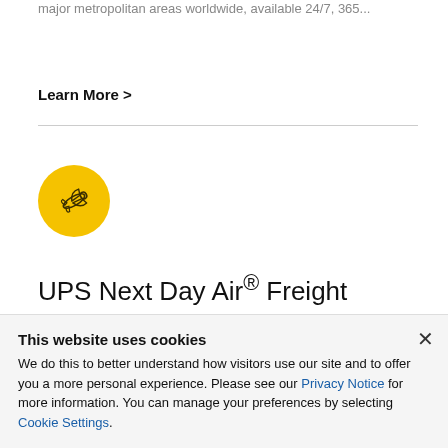major metropolitan areas worldwide, available 24/7, 365...
Learn More >
[Figure (illustration): Yellow circle icon with airplane silhouette representing air freight service]
UPS Next Day Air® Freight
Guaranteed and non-guaranteed next business day...
This website uses cookies
We do this to better understand how visitors use our site and to offer you a more personal experience. Please see our Privacy Notice for more information. You can manage your preferences by selecting Cookie Settings.